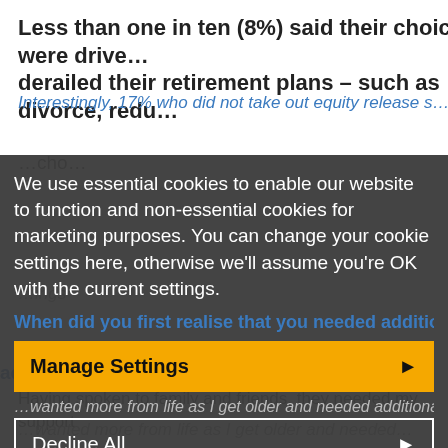Less than one in ten (8%) said their choices were driven by events that derailed their retirement plans – such as divorce, redu…
Interestingly, 17% who did not take out equity release s…
We use essential cookies to enable our website to function and non-essential cookies for marketing purposes. You can change your cookie settings here, otherwise we'll assume you're OK with the current settings.
When did you first realise that you needed additio…
Manage Settings
Decline All
…wanted more from life as I got older and needed additional money to do this
I had always known this as my pensions and savings a… not…gh
Accept
Having spoken to family and friends, they needed my support